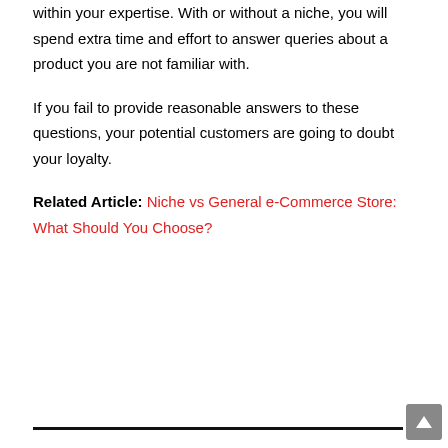within your expertise. With or without a niche, you will spend extra time and effort to answer queries about a product you are not familiar with.
If you fail to provide reasonable answers to these questions, your potential customers are going to doubt your loyalty.
Related Article: Niche vs General e-Commerce Store: What Should You Choose?